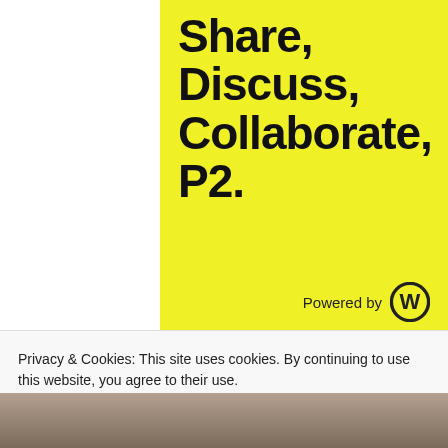[Figure (advertisement): Yellow advertisement banner with bold text: Share, Discuss, Collaborate, P2. Powered by WordPress logo.]
REPORT THIS AD
Copyright © Suma Reddy
Sponsored Content
Privacy & Cookies: This site uses cookies. By continuing to use this website, you agree to their use.
To find out more, including how to control cookies, see here: Cookie Policy
Close and accept
[Figure (photo): Partial photo strip of a building exterior at the bottom of the page]